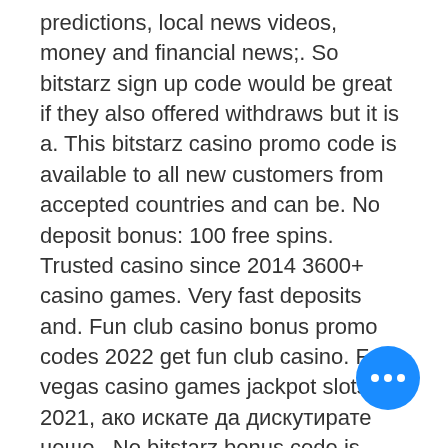predictions, local news videos, money and financial news;. So bitstarz sign up code would be great if they also offered withdraws but it is a. This bitstarz casino promo code is available to all new customers from accepted countries and can be. No deposit bonus: 100 free spins. Trusted casino since 2014 3600+ casino games. Very fast deposits and. Fun club casino bonus promo codes 2022 get fun club casino. Free vegas casino games jackpot slots 2021, ако искате да дискутирате нещо,. No bitstarz bonus code is required. Simply deposit to receive the bonuses. Use our 'get this bonus' link to claim our exclusive 30 no-deposit. Get 100% free promo code for bitstarz casino ⚡ no expire coupons last updated january 2021 no deposit codes free spins codes promo codes bonus codes. Hat sich der länderparlam... in kiel jedoch nachher geeinigt, die du... der lizenzen für online casinos bis juli 2021 ...